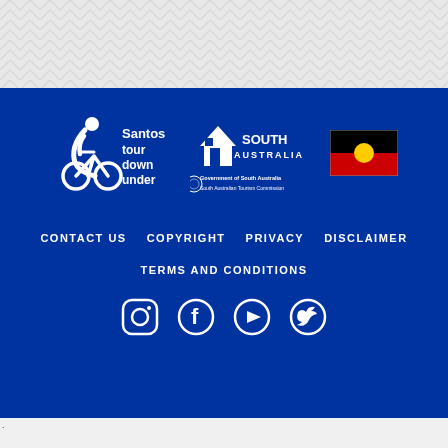[Figure (logo): Santos Tour Down Under logo with cyclist silhouette and text 'Santos tour down under']
[Figure (logo): South Australia government logo with house/map icon and text 'SOUTH AUSTRALIA']
[Figure (logo): Government of South Australia - South Australian Tourism Commission logo]
[Figure (logo): Australian Aboriginal flag - black top half, red bottom half, yellow circle in center]
CONTACT US   COPYRIGHT   PRIVACY   DISCLAIMER
TERMS AND CONDITIONS
[Figure (other): Social media icons: Instagram, Facebook, YouTube, Twitter in white on dark blue background]